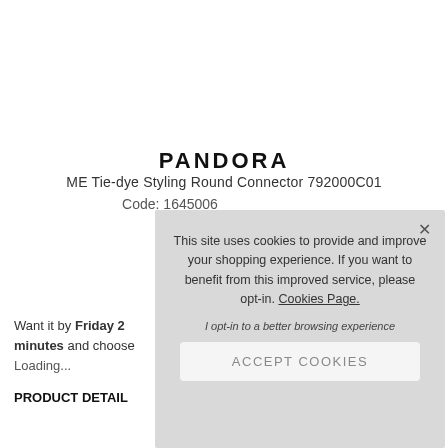PANDORA
ME Tie-dye Styling Round Connector 792000C01
Code: 1645006
Want it by Friday 2 minutes and choose
Loading...
PRODUCT DETAIL
This site uses cookies to provide and improve your shopping experience. If you want to benefit from this improved service, please opt-in. Cookies Page.
I opt-in to a better browsing experience
ACCEPT COOKIES